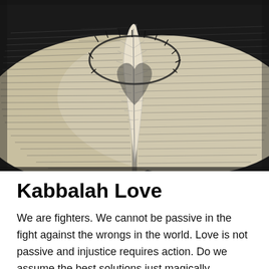[Figure (photo): An open Bible with pages spread, showing a crown of thorns and a feather casting a heart-shaped shadow on the pages, in black and white photography.]
Kabbalah Love
We are fighters. We cannot be passive in the fight against the wrongs in the world. Love is not passive and injustice requires action. Do we assume the best solutions just magically happen? Are we supposed to allow oppression